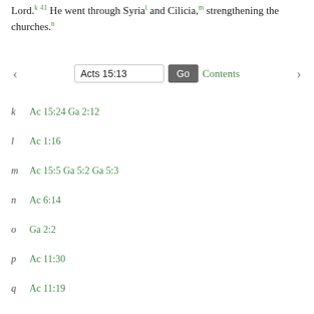Lord.k 41 He went through Syrialˡ and Cilicia,ᵐ strengthening the churches.ⁿ
Navigation bar: Acts 15:13 | Go | Contents
k  Ac 15:24 Ga 2:12
l  Ac 1:16
m  Ac 15:5 Ga 5:2 Ga 5:3
n  Ac 6:14
o  Ga 2:2
p  Ac 11:30
q  Ac 11:19